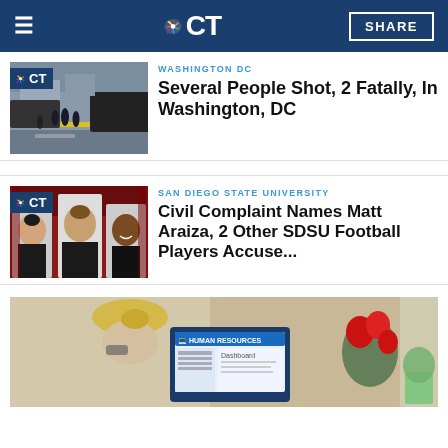NBC CT — SHARE
[Figure (photo): Crime scene with yellow tape, police and investigators on a city street]
WASHINGTON DC
Several People Shot, 2 Fatally, In Washington, DC
[Figure (photo): Three SDSU football players in headshots against red background]
SAN DIEGO STATE UNIVERSITY
Civil Complaint Names Matt Araiza, 2 Other SDSU Football Players Accuse...
[Figure (photo): Woman with blonde hair viewed from behind looking at a laptop showing Human Resources dashboard, red flowers in background]